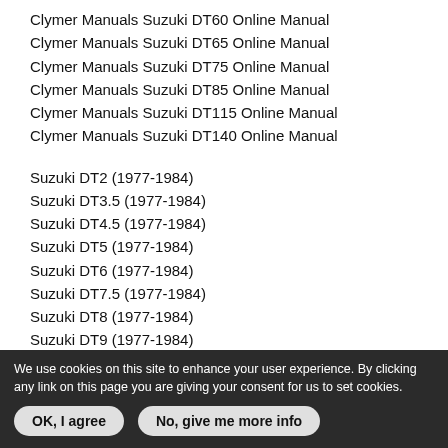Clymer Manuals Suzuki DT60 Online Manual
Clymer Manuals Suzuki DT65 Online Manual
Clymer Manuals Suzuki DT75 Online Manual
Clymer Manuals Suzuki DT85 Online Manual
Clymer Manuals Suzuki DT115 Online Manual
Clymer Manuals Suzuki DT140 Online Manual
Suzuki DT2 (1977-1984)
Suzuki DT3.5 (1977-1984)
Suzuki DT4.5 (1977-1984)
Suzuki DT5 (1977-1984)
Suzuki DT6 (1977-1984)
Suzuki DT7.5 (1977-1984)
Suzuki DT8 (1977-1984)
Suzuki DT9 (1977-1984)
Suzuki DT9.9 (1977-1984)
Suzuki DT15 (1977-1984)
Suzuki DT16 (1977-1984)
Suzuki DT20 (1977-1984)
Suzuki DT25 (1977-1984)
We use cookies on this site to enhance your user experience. By clicking any link on this page you are giving your consent for us to set cookies.
OK, I agree | No, give me more info